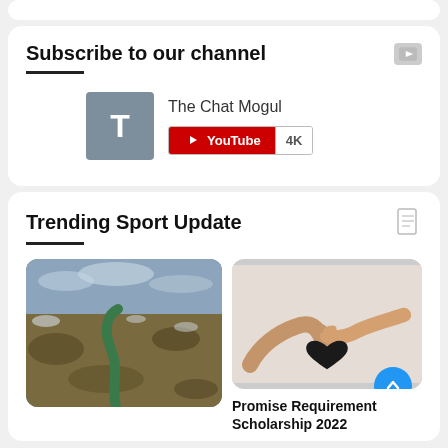Subscribe to our channel
The Chat Mogul
YouTube 4K
Trending Sport Update
[Figure (photo): Aerial view of a winding river through a landscape with patches of snow and brown terrain]
[Figure (photo): Two hands holding a black paper heart cutout against a light background]
Promise Requirement Scholarship 2022